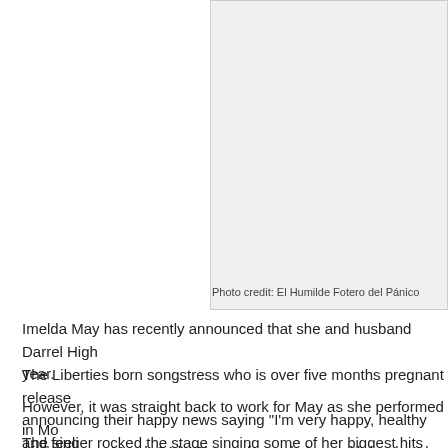[Figure (photo): A photo with light gray background, partially visible on the right side of the page]
Photo credit: El Humilde Fotero del Pánico
Imelda May has recently announced that she and husband Darrel High year.
The Liberties born songstress who is over five months pregnant release announcing their happy news saying "I'm very happy, healthy and feeli
However, it was straight back to work for May as she performed in Mo of charity, on March 24th. She performed along with her band, which in
The singer rocked the stage singing some of her biggest hits and show music career on hold.